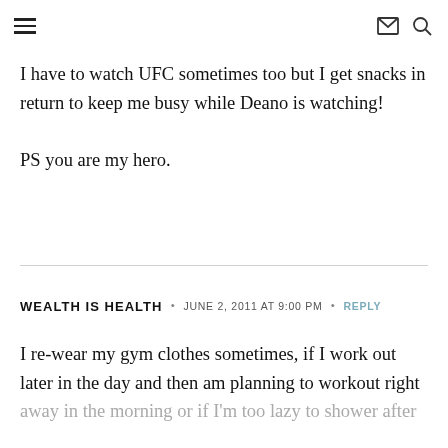≡  ✉ 🔍
I have to watch UFC sometimes too but I get snacks in return to keep me busy while Deano is watching!

PS you are my hero.
WEALTH IS HEALTH · JUNE 2, 2011 AT 9:00 PM · REPLY
I re-wear my gym clothes sometimes, if I work out later in the day and then am planning to workout right away in the morning or if I'm too lazy to shower after a workout I will stay in my stinky clothes.